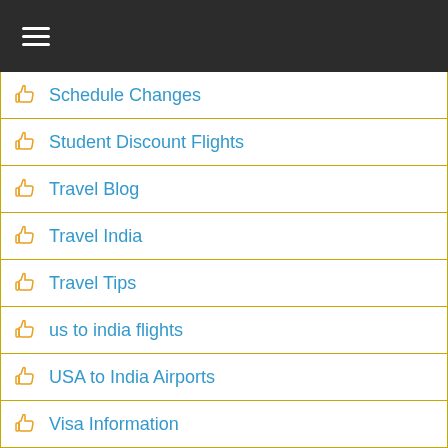Navigation menu header
Schedule Changes
Student Discount Flights
Travel Blog
Travel India
Travel Tips
us to india flights
USA to India Airports
Visa Information
Web Check-In
Cheap Flights to India
Flights to Delhi